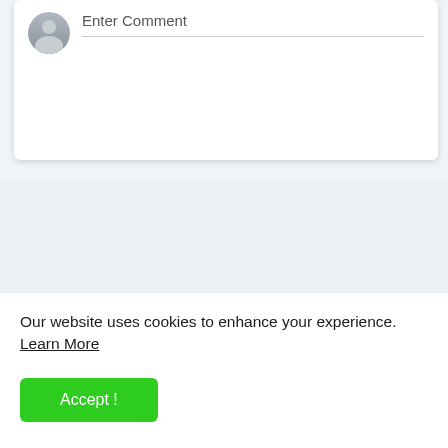[Figure (screenshot): Comment input box with a grey user avatar icon on the left and placeholder text 'Enter Comment' with a bottom border line on the right, inside a white card with shadow.]
Our website uses cookies to enhance your experience. Learn More
Accept !